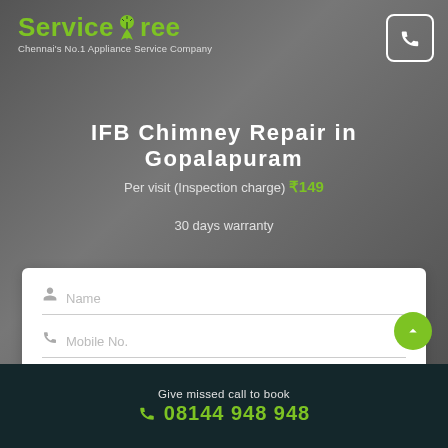[Figure (logo): ServiceTree logo with green tree icon and green text]
Chennai's No.1 Appliance Service Company
IFB Chimney Repair in Gopalapuram
Per visit (Inspection charge) ₹149
30 days warranty
Book Now
By clicking Book Now, you agree to our terms
Give missed call to book
08144 948 948